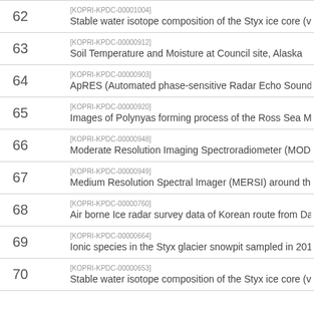| # | Reference ID / Title |
| --- | --- |
| 62 | [KOPRI-KPDC-00001004]
Stable water isotope composition of the Styx ice core (v3 |
| 63 | [KOPRI-KPDC-00000912]
Soil Temperature and Moisture at Council site, Alaska |
| 64 | [KOPRI-KPDC-00000903]
ApRES (Automated phase-sensitive Radar Echo Sounding |
| 65 | [KOPRI-KPDC-00000920]
Images of Polynyas forming process of the Ross Sea MPA |
| 66 | [KOPRI-KPDC-00000948]
Moderate Resolution Imaging Spectroradiometer (MODIS |
| 67 | [KOPRI-KPDC-00000949]
Medium Resolution Spectral Imager (MERSI) around the |
| 68 | [KOPRI-KPDC-00000760]
Air borne Ice radar survey data of Korean route from Da |
| 69 | [KOPRI-KPDC-00000664]
Ionic species in the Styx glacier snowpit sampled in 2014 |
| 70 | [KOPRI-KPDC-00000653]
Stable water isotope composition of the Styx ice core (v1 |